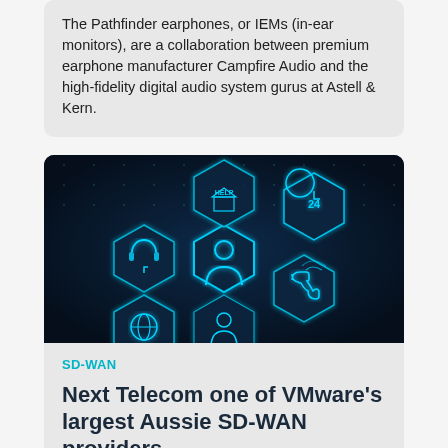The Pathfinder earphones, or IEMs (in-ear monitors), are a collaboration between premium earphone manufacturer Campfire Audio and the high-fidelity digital audio system gurus at Astell & Kern.
[Figure (photo): Dark blue technology image showing glowing hexagonal icons representing customer service, help, phone support, global connectivity, and a 24-hour service symbol on a digital background.]
SD-WAN
Next Telecom one of VMware's largest Aussie SD-WAN providers